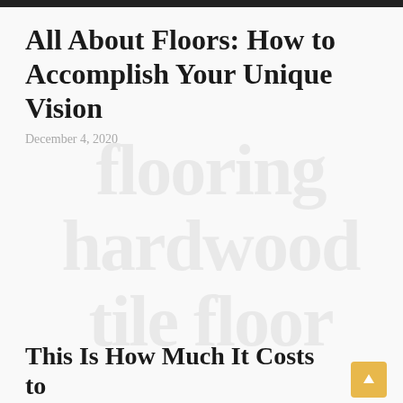All About Floors: How to Accomplish Your Unique Vision
December 4, 2020
[Figure (photo): Faded/ghosted image of flooring, very low opacity placeholder image in the center of the page]
This Is How Much It Costs to